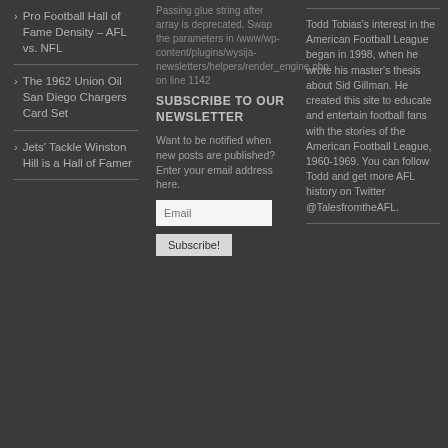Pro Football Hall of Fame Density – AFL vs. NFL
The 1962 Union Oil San Diego Chargers Card Set
Jets' Tackle Winston Hill is a Hall of Famer
Passing glue string after array is deprecated. Swap the parameters in /www/wp-content/plugins/wysija-newsletters/helpers/render_engine.php on line 1142
SUBSCRIBE TO OUR NEWSLETTER
Want to be notified when new posts are published? Enter your email address here.
Email
Subscribe!
Todd Tobias's interest in the American Football League began in 1998, when he wrote his master's thesis about Sid Gillman. He created this site to educate and entertain football fans with the stories of the American Football League, 1960-1969. You can follow Todd and get more AFL history on Twitter @TalesfromtheAFL.